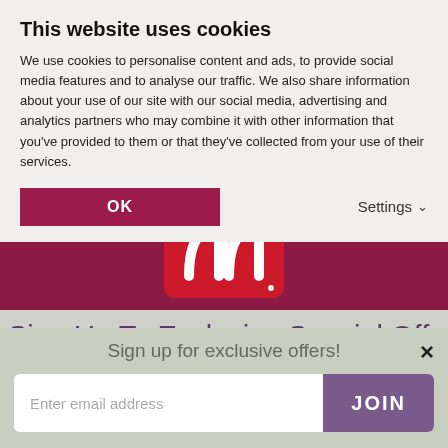This website uses cookies
We use cookies to personalise content and ads, to provide social media features and to analyse our traffic. We also share information about your use of our site with our social media, advertising and analytics partners who may combine it with other information that you've provided to them or that they've collected from your use of their services.
OK
Settings
[Figure (logo): Morrisons supermarket logo - red square with white stylized M plant/tree icon]
Sign Up To Exclusive Special Offers
Sign up for exclusive offers!
Enter email address
JOIN